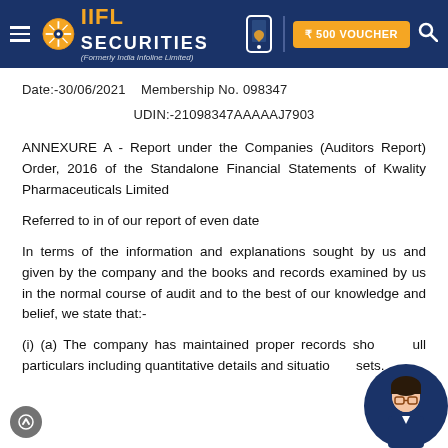IIFL Securities (Formerly India Infoline Limited) — ₹500 VOUCHER
Date:-30/06/2021    Membership No. 098347
UDIN:-21098347AAAAAJ7903
ANNEXURE A - Report under the Companies (Auditors Report) Order, 2016 of the Standalone Financial Statements of Kwality Pharmaceuticals Limited
Referred to in of our report of even date
In terms of the information and explanations sought by us and given by the company and the books and records examined by us in the normal course of audit and to the best of our knowledge and belief, we state that:-
(i) (a) The company has maintained proper records showing full particulars including quantitative details and situation of assets.